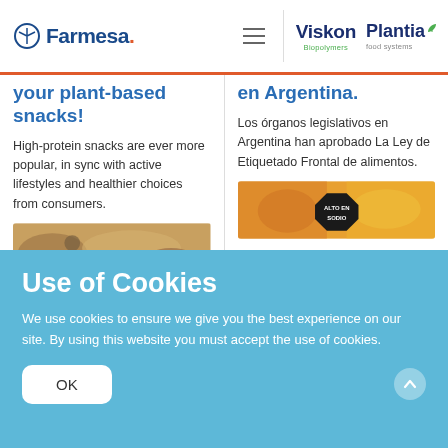Farmesa | Viskon Biopolymers | Plantia food systems
your plant-based snacks!
High-protein snacks are ever more popular, in sync with active lifestyles and healthier choices from consumers.
[Figure (photo): Close-up photo of food snacks texture, granola or nut-based snack]
en Argentina.
Los órganos legislativos en Argentina han aprobado La Ley de Etiquetado Frontal de alimentos.
[Figure (photo): Photo of food products with a black octagon warning label reading ALTO EN SODIO]
Use of Cookies
We use cookies to ensure we give you the best experience on our site. By using this website you must accept the use of cookies.
OK